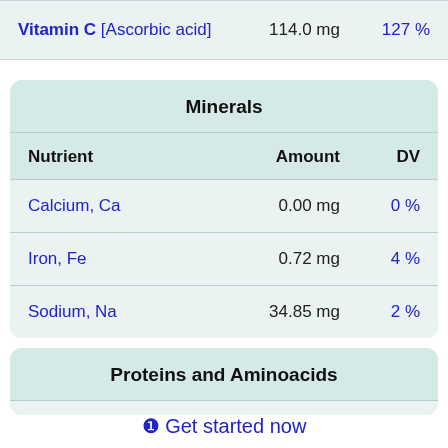| Nutrient | Amount | DV |
| --- | --- | --- |
| Vitamin C [Ascorbic acid] | 114.0 mg | 127 % |
Minerals
| Nutrient | Amount | DV |
| --- | --- | --- |
| Calcium, Ca | 0.00 mg | 0 % |
| Iron, Fe | 0.72 mg | 4 % |
| Sodium, Na | 34.85 mg | 2 % |
Proteins and Aminoacids
❶ Get started now